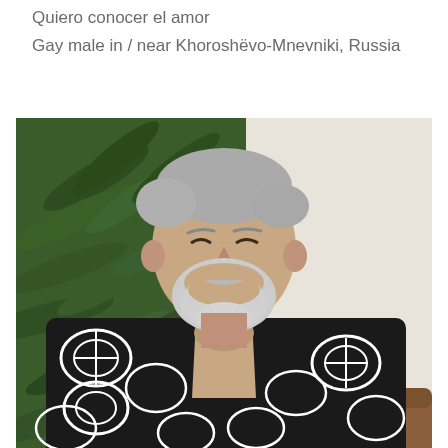Quiero conocer el amor
Gay male in / near Khoroshëvo-Mnevniki, Russia
[Figure (photo): Middle-aged man with grey hair and grey beard, smiling, wearing a black and white patterned open shirt, seated in front of green tropical foliage.]